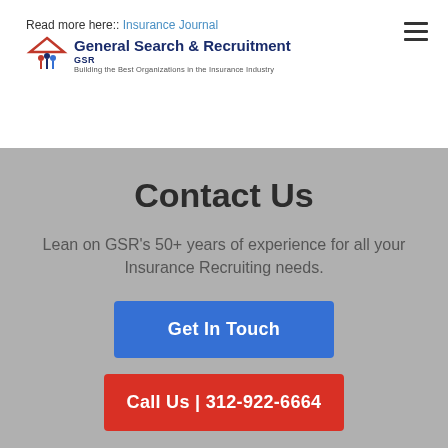Read more here:: Insurance Journal
[Figure (logo): GSR General Search & Recruitment logo with icon and tagline 'Building the Best Organizations in the Insurance Industry']
Contact Us
Lean on GSR's 50+ years of experience for all your Insurance Recruiting needs.
Get In Touch
Call Us | 312-922-6664